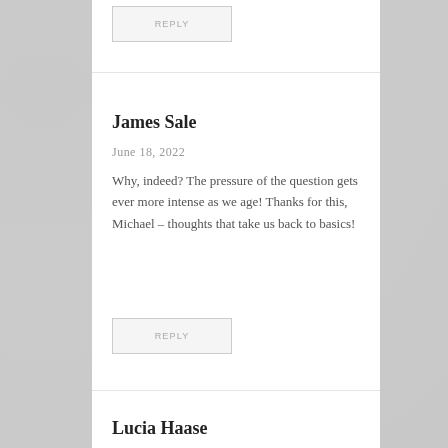REPLY
James Sale
June 18, 2022
Why, indeed? The pressure of the question gets ever more intense as we age! Thanks for this, Michael – thoughts that take us back to basics!
REPLY
Lucia Haase